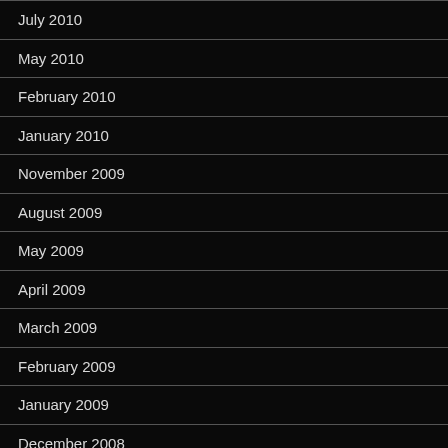July 2010
May 2010
February 2010
January 2010
November 2009
August 2009
May 2009
April 2009
March 2009
February 2009
January 2009
December 2008